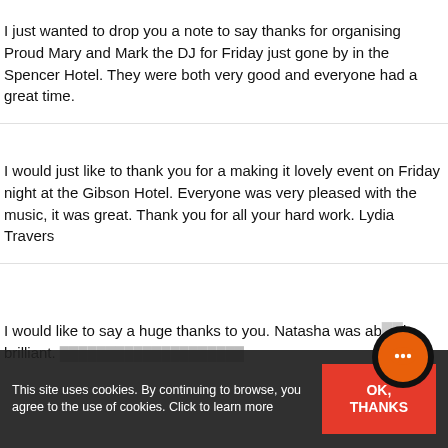I just wanted to drop you a note to say thanks for organising Proud Mary and Mark the DJ for Friday just gone by in the Spencer Hotel. They were both very good and everyone had a great time.
I would just like to thank you for a making it lovely event on Friday night at the Gibson Hotel. Everyone was very pleased with the music, it was great. Thank you for all your hard work. Lydia Travers
I would like to say a huge thanks to you. Natasha was ab... brilliant. I would highly recommend her to everyone and...
[Figure (other): Orange and black circular chat support button with ellipsis icon]
This site uses cookies. By continuing to browse, you agree to the use of cookies. Click to learn more
OK, THANKS